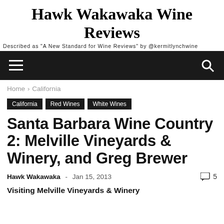Hawk Wakawaka Wine Reviews
Described as "A New Standard for Wine Reviews" by @kermitlynchwine
☰ [navigation] 🔍 [search]
Home › California
California
Red Wines
White Wines
Santa Barbara Wine Country 2: Melville Vineyards & Winery, and Greg Brewer
Hawk Wakawaka  -  Jan 15, 2013  💬 5
Visiting Melville Vineyards & Winery